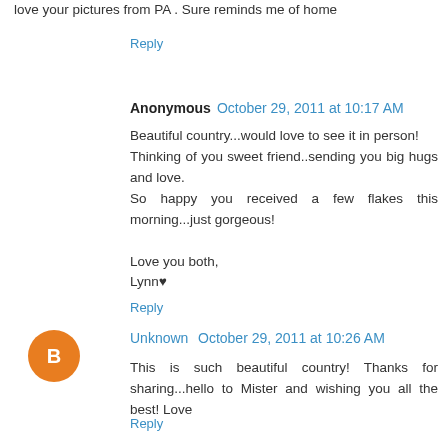love your pictures from PA . Sure reminds me of home
Reply
Anonymous  October 29, 2011 at 10:17 AM
Beautiful country...would love to see it in person! Thinking of you sweet friend..sending you big hugs and love.
So happy you received a few flakes this morning...just gorgeous!

Love you both,
Lynn♥
Reply
Unknown  October 29, 2011 at 10:26 AM
This is such beautiful country! Thanks for sharing...hello to Mister and wishing you all the best! Love
Reply